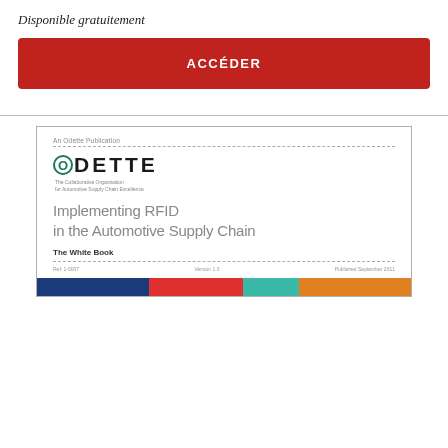Disponible gratuitement
ACCÉDER
[Figure (screenshot): Preview of the Odette publication cover page for 'Implementing RFID in the Automotive Supply Chain - The White Book', showing the Odette logo, book title, and a colorful banner at the bottom.]